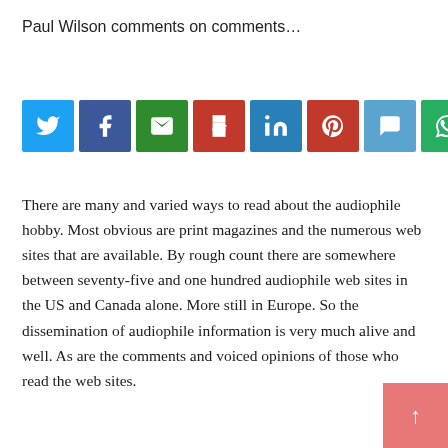Paul Wilson comments on comments…
[Figure (infographic): Row of 8 social media sharing icons: Twitter (blue), Facebook (dark blue), Email (green), Print (red), LinkedIn (blue), Pinterest (red), Comment (light blue), WhatsApp (green)]
There are many and varied ways to read about the audiophile hobby. Most obvious are print magazines and the numerous web sites that are available. By rough count there are somewhere between seventy-five and one hundred audiophile web sites in the US and Canada alone. More still in Europe. So the dissemination of audiophile information is very much alive and well. As are the comments and voiced opinions of those who read the web sites.